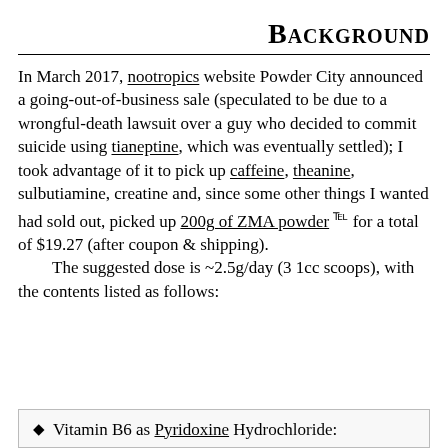Background
In March 2017, nootropics website Powder City announced a going-out-of-business sale (speculated to be due to a wrongful-death lawsuit over a guy who decided to commit suicide using tianeptine, which was eventually settled); I took advantage of it to pick up caffeine, theanine, sulbutiamine, creatine and, since some other things I wanted had sold out, picked up 200g of ZMA powder for a total of $19.27 (after coupon & shipping).
    The suggested dose is ~2.5g/day (3 1cc scoops), with the contents listed as follows:
Vitamin B6 as Pyridoxine Hydrochloride: